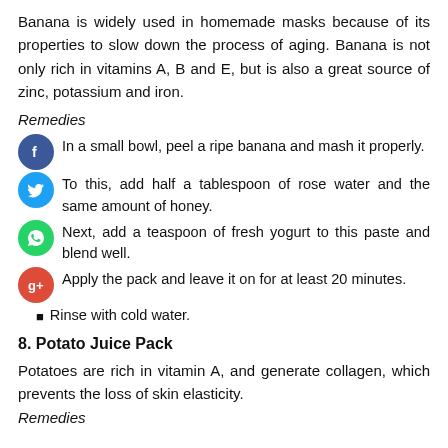Banana is widely used in homemade masks because of its properties to slow down the process of aging. Banana is not only rich in vitamins A, B and E, but is also a great source of zinc, potassium and iron.
Remedies
In a small bowl, peel a ripe banana and mash it properly.
To this, add half a tablespoon of rose water and the same amount of honey.
Next, add a teaspoon of fresh yogurt to this paste and blend well.
Apply the pack and leave it on for at least 20 minutes.
Rinse with cold water.
8. Potato Juice Pack
Potatoes are rich in vitamin A, and generate collagen, which prevents the loss of skin elasticity.
Remedies